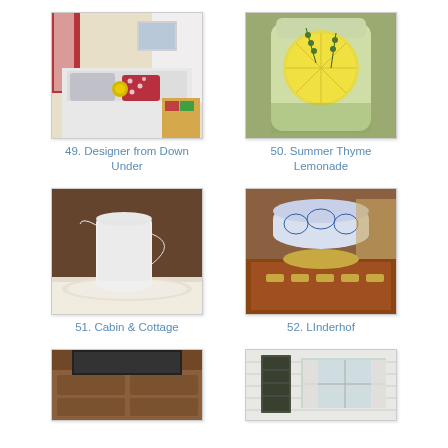[Figure (photo): Bedroom with white bedding, red polka dot pillows, yellow flower, curtains, colorful items on dresser - item 49 Designer from Down Under]
49. Designer from Down Under
[Figure (photo): Glass jar with lemon slices and thyme in water/lemonade - item 50 Summer Thyme Lemonade]
50. Summer Thyme Lemonade
[Figure (photo): White ceramic pitcher on a plate with lace tablecloth, dark wood background - item 51 Cabin & Cottage]
51. Cabin & Cottage
[Figure (photo): Blue and white decorative bowl on gold base on wooden chest with gold hardware - item 52 LInderhof]
52. LInderhof
[Figure (photo): Wooden dresser/cabinet with drawers and TV on top - item 53 (partially visible)]
[Figure (photo): House exterior with shuttered window and white siding - item 54 (partially visible)]